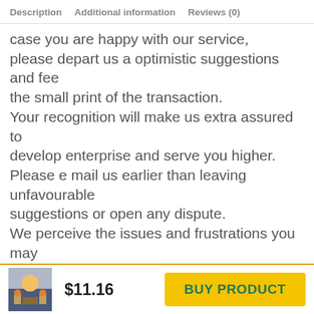Description   Additional information   Reviews (0)
case you are happy with our service, please depart us a optimistic suggestions and fee the small print of the transaction. Your recognition will make us extra assured to develop enterprise and serve you higher. Please e mail us earlier than leaving unfavourable suggestions or open any dispute. We perceive the issues and frustrations you may
We use cookies on our website to give you the most relevant experience by remembering your preferences and repeat visits. By clicking “Accept”, you consent to the use of ALL the cookies. Do not sell my personal information.
$11.16
BUY PRODUCT